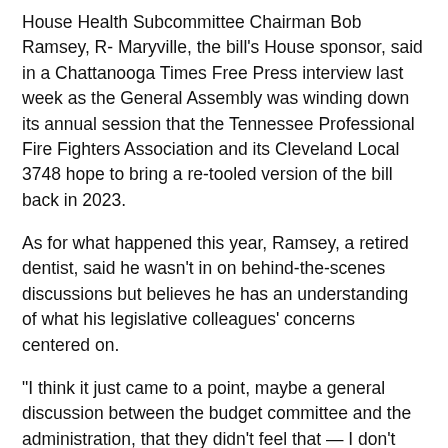House Health Subcommittee Chairman Bob Ramsey, R- Maryville, the bill's House sponsor, said in a Chattanooga Times Free Press interview last week as the General Assembly was winding down its annual session that the Tennessee Professional Fire Fighters Association and its Cleveland Local 3748 hope to bring a re-tooled version of the bill back in 2023.
As for what happened this year, Ramsey, a retired dentist, said he wasn't in on behind-the-scenes discussions but believes he has an understanding of what his legislative colleagues' concerns centered on.
"I think it just came to a point, maybe a general discussion between the budget committee and the administration, that they didn't feel that — I don't want to put them in an unpleasant situation — but they just didn't feel like it was something they could burden local communities, local governments with," Ramsey said